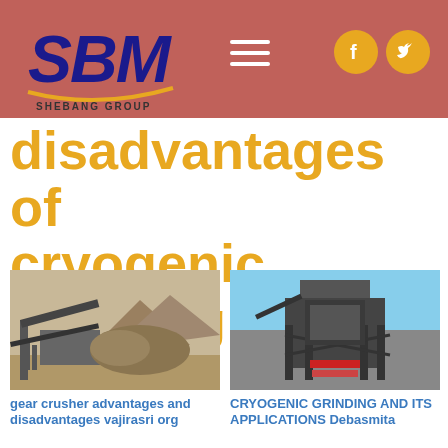[Figure (logo): SBM Shebang Group logo in blue on red/terracotta background header with hamburger menu and Facebook/Twitter social icons]
disadvantages of cryogenic grinding
[Figure (photo): Outdoor quarry/crushing plant machinery with conveyor belt and mountains in background]
[Figure (photo): Industrial tower structure for cryogenic grinding equipment against blue sky]
gear crusher advantages and disadvantages vajirasri org
CRYOGENIC GRINDING AND ITS APPLICATIONS Debasmita